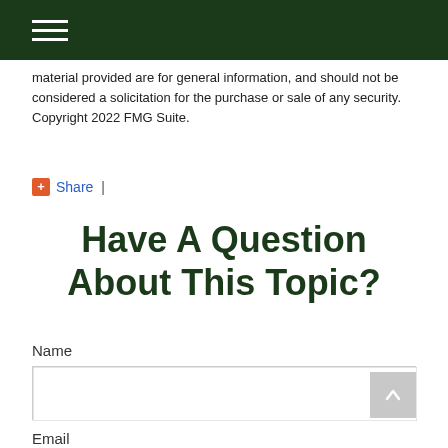Navigation menu header bar
material provided are for general information, and should not be considered a solicitation for the purchase or sale of any security. Copyright 2022 FMG Suite.
+Share |
Have A Question About This Topic?
Name
Email